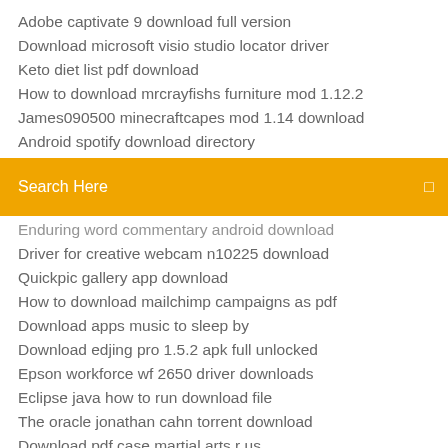Adobe captivate 9 download full version
Download microsoft visio studio locator driver
Keto diet list pdf download
How to download mrcrayfishs furniture mod 1.12.2
James090500 minecraftcapes mod 1.14 download
Android spotify download directory
Search Here
Enduring word commentary android download
Driver for creative webcam n10225 download
Quickpic gallery app download
How to download mailchimp campaigns as pdf
Download apps music to sleep by
Download edjing pro 1.5.2 apk full unlocked
Epson workforce wf 2650 driver downloads
Eclipse java how to run download file
The oracle jonathan cahn torrent download
Download pdf case martial arts r us
Drivers for the edison profesional scratch 2500 download